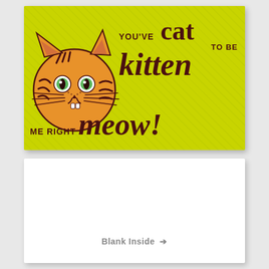[Figure (illustration): Greeting card front with yellow-green background showing a cartoon orange tabby cat face on the left with green eyes, whiskers, and stripes. On the right, text reads: YOU'VE cat TO BE kitten ME RIGHT meow! in mixed fonts and sizes with dark brown/maroon color.]
[Figure (illustration): Blank white card interior panel showing 'Blank Inside' text with a right-pointing arrow in gray.]